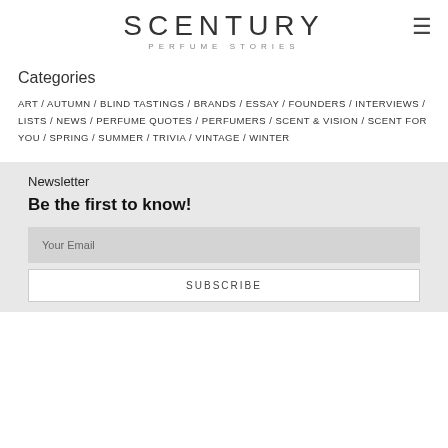[Figure (logo): SCENTURY PERFUME STORIES logo with hamburger menu icon]
Categories
ART / AUTUMN / BLIND TASTINGS / BRANDS / ESSAY / FOUNDERS / INTERVIEWS / LISTS / NEWS / PERFUME QUOTES / PERFUMERS / SCENT & VISION / SCENT FOR YOU / SPRING / SUMMER / TRIVIA / VINTAGE / WINTER
Newsletter
Be the first to know!
Your Email
SUBSCRIBE